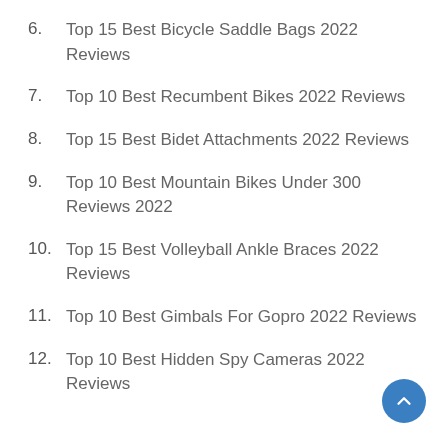6. Top 15 Best Bicycle Saddle Bags 2022 Reviews
7. Top 10 Best Recumbent Bikes 2022 Reviews
8. Top 15 Best Bidet Attachments 2022 Reviews
9. Top 10 Best Mountain Bikes Under 300 Reviews 2022
10. Top 15 Best Volleyball Ankle Braces 2022 Reviews
11. Top 10 Best Gimbals For Gopro 2022 Reviews
12. Top 10 Best Hidden Spy Cameras 2022 Reviews